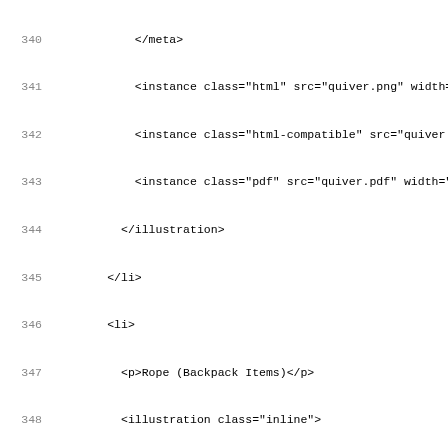Code listing lines 340-371 showing XML/markup content for illustration elements including meta, instance, and li tags
340     </meta>
341     <instance class="html" src="quiver.png" width=
342     <instance class="html-compatible" src="quiver.
343     <instance class="pdf" src="quiver.pdf" width="
344     </illustration>
345     </li>
346     <li>
347       <p>Rope (Backpack Items)</p>
348       <illustration class="inline">
349         <meta>
350          <creator>Brian Williams</creator>
351         </meta>
352         <instance class="html" src="rope.png" width="3
353         <instance class="html-compatible" src="rope.gi
354         <instance class="pdf" src="rope.pdf" width="38
355       </illustration>
356     </li>
357     <li>
358       <p>Potion of Laumspur (Backpack Items) This pot
359       <illustration class="inline">
360         <meta>
361          <creator>Brian Williams</creator>
362         </meta>
363         <instance class="html" src="potion.png" width
364         <instance class="html-compatible" src="potion
365         <instance class="pdf" src="potion.pdf" width=
366       </illustration>
367     </li>
368     <li>
369       <p>Lantern (Backpack Items)<footref id="equipm
370       <illustration class="inline">
371         <meta>